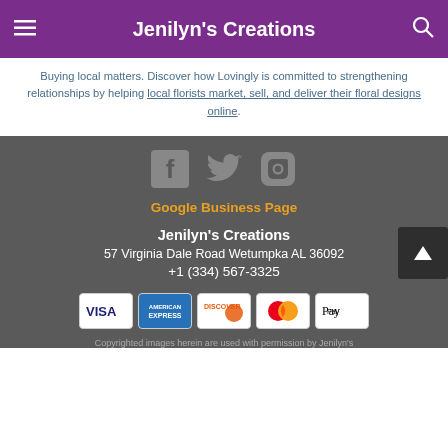Jenilyn's Creations
Buying local matters. Discover how Lovingly is committed to strengthening relationships by helping local florists market, sell, and deliver their floral designs online.
[Figure (illustration): Social media icons: Facebook, Twitter, Instagram in gray]
Google Business Page
Jenilyn's Creations
57 Virginia Dale Road Wetumpka AL 36092
+1 (334) 567-3325
[Figure (infographic): Payment method icons: Visa, American Express, Discover, MasterCard, Apple Pay]
Copyrighted images herein are used with permission by Jenilyn's